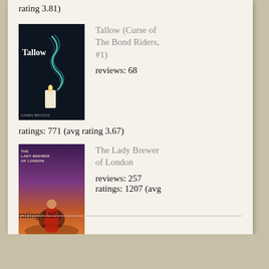rating 3.81)
[Figure (illustration): Book cover of Tallow (Curse of The Bond Riders, #1) — dark background with glowing teal swirl and a candle, author Karen Brooks]
Tallow (Curse of The Bond Riders, #1)
reviews: 68
ratings: 771 (avg rating 3.67)
[Figure (illustration): Book cover of The Lady Brewer of London — purple and orange gradient with a figure of a woman, ornate text]
The Lady Brewer of London
reviews: 257
ratings: 1207 (avg rating 3.95)